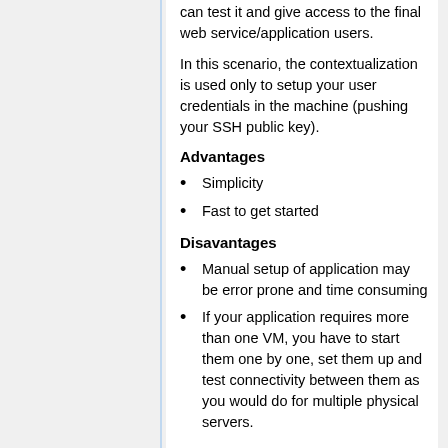can test it and give access to the final web service/application users.
In this scenario, the contextualization is used only to setup your user credentials in the machine (pushing your SSH public key).
Advantages
Simplicity
Fast to get started
Disavantages
Manual setup of application may be error prone and time consuming
If your application requires more than one VM, you have to start them one by one, set them up and test connectivity between them as you would do for multiple physical servers.